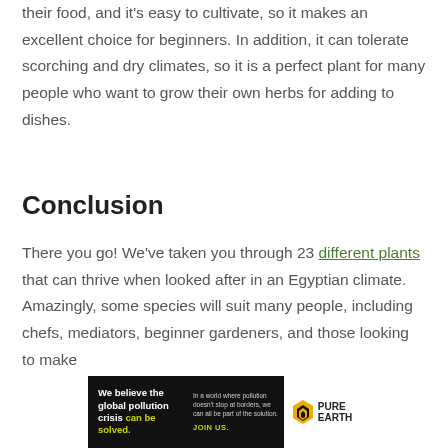their food, and it's easy to cultivate, so it makes an excellent choice for beginners. In addition, it can tolerate scorching and dry climates, so it is a perfect plant for many people who want to grow their own herbs for adding to dishes.
Conclusion
There you go! We've taken you through 23 different plants that can thrive when looked after in an Egyptian climate. Amazingly, some species will suit many people, including chefs, mediators, beginner gardeners, and those looking to make
[Figure (infographic): Pure Earth advertisement banner: 'We believe the global pollution crisis can be solved.' with tagline about pollution not stopping at borders and call to action 'JOIN US.']